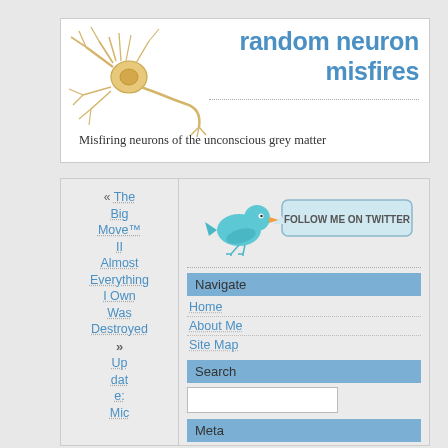[Figure (illustration): Blog header banner with a neuron illustration on the left and the site title 'random neuron misfires' in large blue text on the right, with subtitle 'Misfiring neurons of the unconscious grey matter' below]
random neuron misfires
Misfiring neurons of the unconscious grey matter
[Figure (illustration): Twitter follow me button with a blue bird illustration and a speech bubble saying 'FOLLOW ME ON TWITTER']
Navigate
Home
About Me
Site Map
Search
Meta
« The Big Move™ II Almost Everything I Own Was Destroyed
» Update: Mic